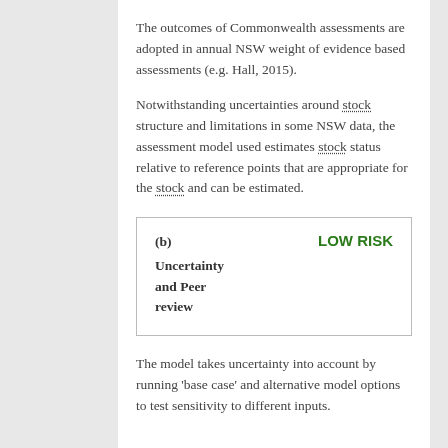The outcomes of Commonwealth assessments are adopted in annual NSW weight of evidence based assessments (e.g. Hall, 2015).
Notwithstanding uncertainties around stock structure and limitations in some NSW data, the assessment model used estimates stock status relative to reference points that are appropriate for the stock and can be estimated.
| (b) Uncertainty and Peer review | LOW RISK |
| --- | --- |
The model takes uncertainty into account by running ‘base case’ and alternative model options to test sensitivity to different inputs.